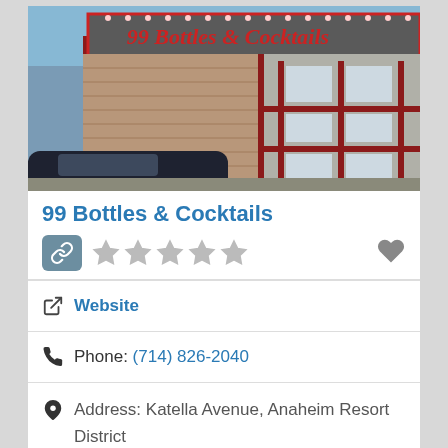[Figure (photo): Exterior photo of 99 Bottles & Cocktails bar/restaurant showing brick facade with red and white signage reading '99 Bottles & Cocktails' with decorative lights, white-framed windows, and a dark car in the foreground parking lot.]
99 Bottles & Cocktails
Website
Phone: (714) 826-2040
Address: Katella Avenue, Anaheim Resort District
Anaheim
California